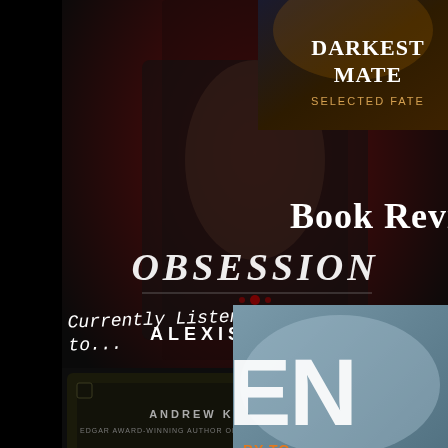[Figure (illustration): Book cover: 'Obsession' by Alexis Calder. Dark romantic cover showing a shirtless man in a black leather jacket against a red/dark background. White ornate title text 'OBSESSION' with decorative flourish, author name 'ALEXIS CALDER' at bottom.]
[Figure (illustration): Partial book cover top-right: 'Darkest Mate' with subtitle 'Selected Fate' on dark/orange background, partially cropped.]
Book Revi
Currently Listening to...
[Figure (illustration): Book cover bottom-left: 'Crazy Dangerous' by Andrew Klavan. Dark cover with gold/yellow text on black background.]
[Figure (illustration): Partial book cover bottom-right: Title starting with 'EN' in large white letters, subtitle 'BY TO...' in orange, and 'BLO...' in large black letters. Partially cropped.]